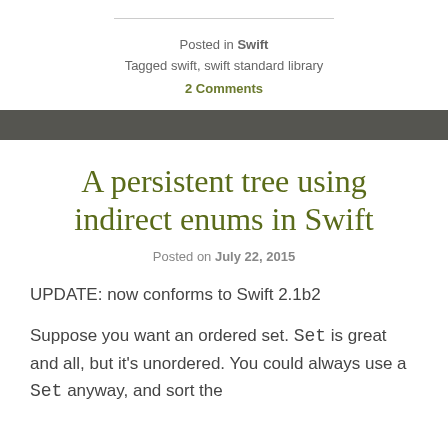Posted in Swift
Tagged swift, swift standard library
2 Comments
A persistent tree using indirect enums in Swift
Posted on July 22, 2015
UPDATE: now conforms to Swift 2.1b2
Suppose you want an ordered set. Set is great and all, but it's unordered. You could always use a Set anyway, and sort the